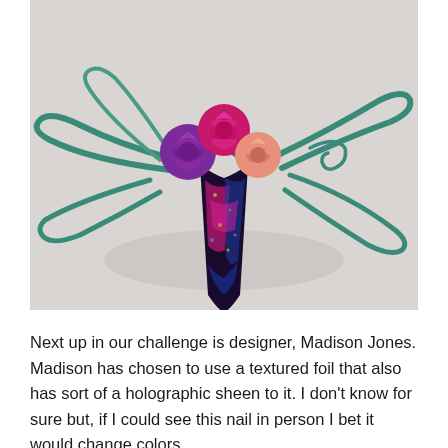[Figure (photo): A decorative nail art piece featuring a long stiletto nail with holographic, iridescent foil in pink, blue, green, and gold tones. On top of the nail are sculpted polymer clay roses in pink/magenta, purple, and peach/salmon colors, with green leaves. Teal/green curling vine-like elements extend from the sides. The background is a light gray.]
Next up in our challenge is designer, Madison Jones. Madison has chosen to use a textured foil that also has sort of a holographic sheen to it. I don't know for sure but, if I could see this nail in person I bet it would change colors